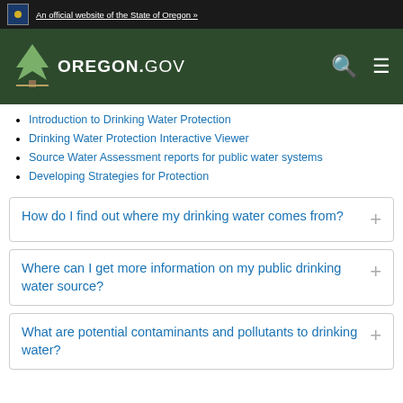An official website of the State of Oregon »
[Figure (logo): Oregon.gov logo with tree graphic on dark green header bar]
Introduction to Drinking Water Protection
Drinking Water Protection Interactive Viewer
Source Water Assessment reports for public water systems
Developing Strategies for Protection
How do I find out where my drinking water comes from?
Where can I get more information on my public drinking water source?
What are potential contaminants and pollutants to drinking water?